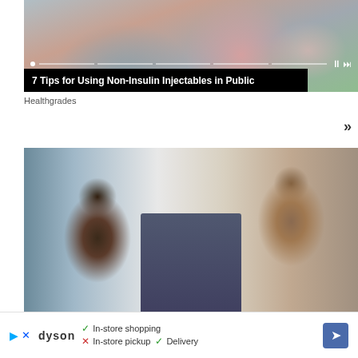[Figure (photo): Video thumbnail showing people at a table or counter, with a video progress bar and play/next controls overlaid. Title bar at bottom reads '7 Tips for Using Non-Insulin Injectables in Public'.]
Healthgrades
[Figure (photo): Photo of two women at what appears to be a medical office or pharmacy counter. On the left is a woman with dark curly hair and glasses in a striped shirt. On the right is a woman with curly lighter-colored hair wearing a dark jacket, smiling. A computer monitor and office equipment visible in the middle.]
[Figure (screenshot): Advertisement banner for Dyson showing logo, play icon, X icon, and text: 'In-store shopping (checkmark), In-store pickup (X), Delivery (checkmark)' with a navigation arrow icon on the right.]